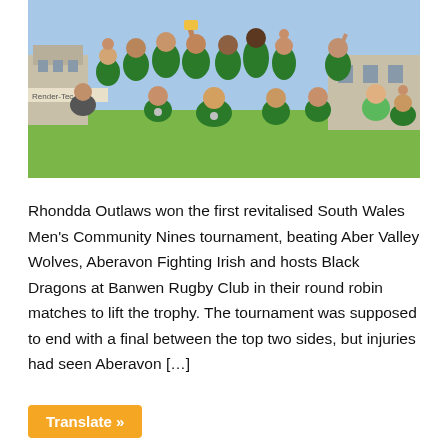[Figure (photo): A group of rugby players in green and black jerseys celebrating outdoors on a grass field, some holding a trophy aloft. Stone buildings visible in the background.]
Rhondda Outlaws won the first revitalised South Wales Men's Community Nines tournament, beating Aber Valley Wolves, Aberavon Fighting Irish and hosts Black Dragons at Banwen Rugby Club in their round robin matches to lift the trophy. The tournament was supposed to end with a final between the top two sides, but injuries had seen Aberavon […]